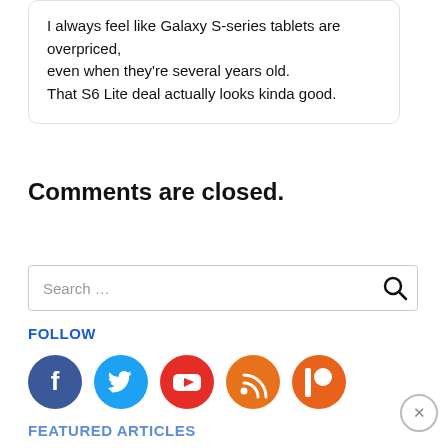I always feel like Galaxy S-series tablets are overpriced, even when they're several years old.
That S6 Lite deal actually looks kinda good.
Comments are closed.
Search …
FOLLOW
[Figure (illustration): Five social media icon circles: Facebook (dark blue), Twitter (light blue), YouTube (red), RSS (orange), Patreon (orange-red)]
FEATURED ARTICLES